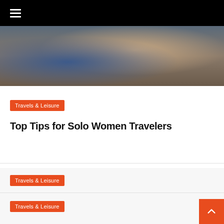Navigation menu
[Figure (photo): Close-up photo of a person holding or carrying colorful patterned bags and maps, suggesting travel]
Travels & Leisure
Top Tips for Solo Women Travelers
Travels & Leisure
Impressive Event Venue Options to Enhance London Summer Parties
Travels & Leisure